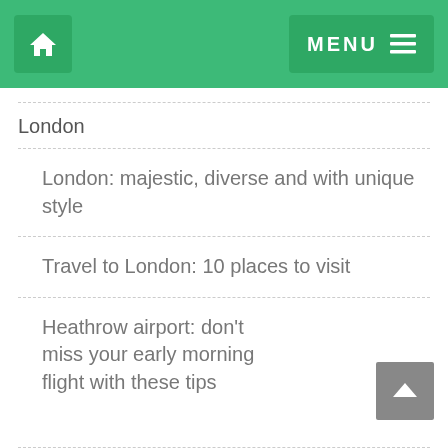MENU
London
London: majestic, diverse and with unique style
Travel to London: 10 places to visit
Heathrow airport: don't miss your early morning flight with these tips